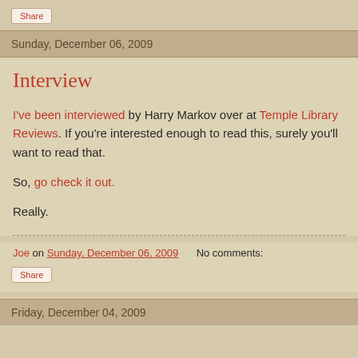Share
Sunday, December 06, 2009
Interview
I've been interviewed by Harry Markov over at Temple Library Reviews. If you're interested enough to read this, surely you'll want to read that.
So, go check it out.
Really.
Joe on Sunday, December 06, 2009   No comments:
Share
Friday, December 04, 2009